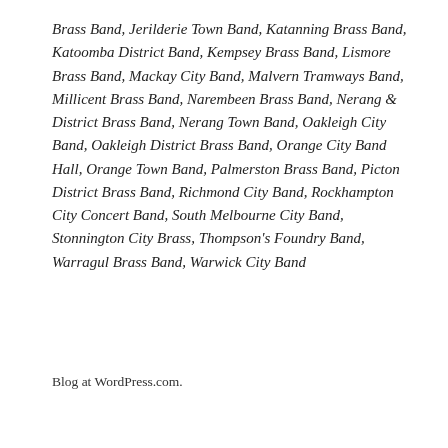Brass Band, Jerilderie Town Band, Katanning Brass Band, Katoomba District Band, Kempsey Brass Band, Lismore Brass Band, Mackay City Band, Malvern Tramways Band, Millicent Brass Band, Narembeen Brass Band, Nerang & District Brass Band, Nerang Town Band, Oakleigh City Band, Oakleigh District Brass Band, Orange City Band Hall, Orange Town Band, Palmerston Brass Band, Picton District Brass Band, Richmond City Band, Rockhampton City Concert Band, South Melbourne City Band, Stonnington City Brass, Thompson's Foundry Band, Warragul Brass Band, Warwick City Band
Blog at WordPress.com.